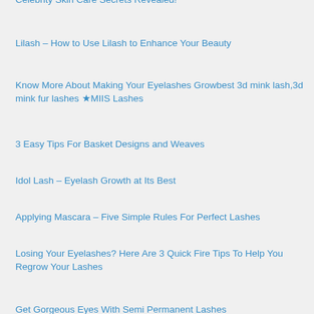Celebrity Skin Care Secrets Revealed!
Lilash – How to Use Lilash to Enhance Your Beauty
Know More About Making Your Eyelashes Growbest 3d mink lash,3d mink fur lashes ★MIIS Lashes
3 Easy Tips For Basket Designs and Weaves
Idol Lash – Eyelash Growth at Its Best
Applying Mascara – Five Simple Rules For Perfect Lashes
Losing Your Eyelashes? Here Are 3 Quick Fire Tips To Help You Regrow Your Lashes
Get Gorgeous Eyes With Semi Permanent Lashes
NeuLash Eyelash Enhancing Serum – Ensuring Maximum Protection for Your Lashes
Foods That Can Help You To Lose Weight
Important Factors to Consider When Buying Second Hand Horse Trailers
Sticking Steel For Troweling Some Polish Onto...